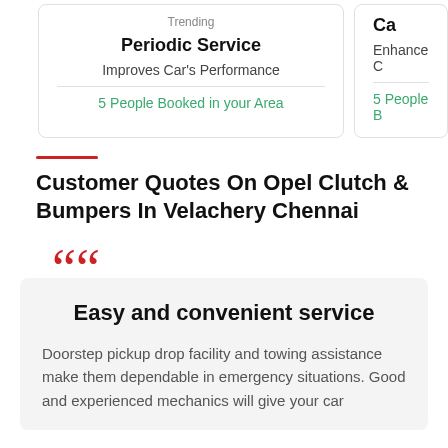Trending
Periodic Service
Improves Car's Performance
5 People Booked in your Area
Ca...
Enhance ...
5 People B...
Customer Quotes On Opel Clutch & Bumpers In Velachery Chennai
““
Easy and convenient service
Doorstep pickup drop facility and towing assistance make them dependable in emergency situations. Good and experienced mechanics will give your car